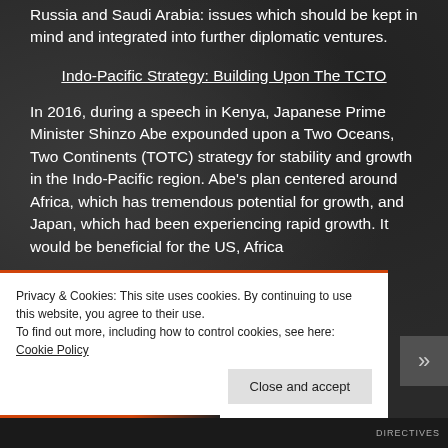Russia and Saudi Arabia: issues which should be kept in mind and integrated into further diplomatic ventures.
Indo-Pacific Strategy: Building Upon The TCTO
In 2016, during a speech in Kenya, Japanese Prime Minister Shinzo Abe expounded upon a Two Oceans, Two Continents (TOTC) strategy for stability and growth in the Indo-Pacific region. Abe's plan centered around Africa, which has tremendous potential for growth, and Japan, which had been experiencing rapid growth. It would be beneficial for the US, Africa
Privacy & Cookies: This site uses cookies. By continuing to use this website, you agree to their use.
To find out more, including how to control cookies, see here: Cookie Policy
Close and accept